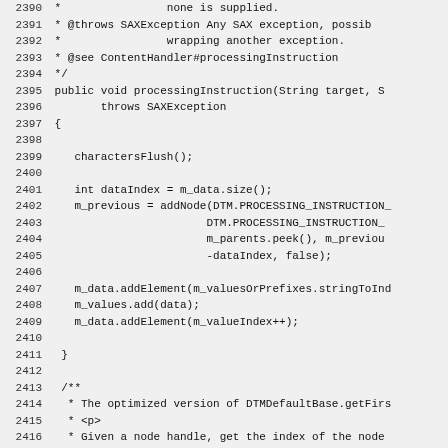Source code listing, lines 2390-2419, Java method processingInstruction and javadoc comment for getFirst.